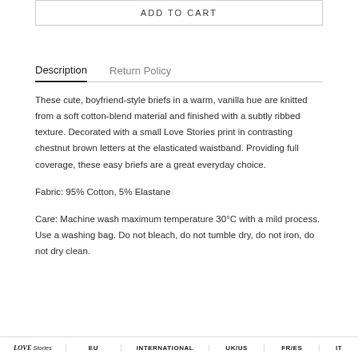ADD TO CART
Description | Return Policy
These cute, boyfriend-style briefs in a warm, vanilla hue are knitted from a soft cotton-blend material and finished with a subtly ribbed texture. Decorated with a small Love Stories print in contrasting chestnut brown letters at the elasticated waistband. Providing full coverage, these easy briefs are a great everyday choice.
Fabric: 95% Cotton, 5% Elastane
Care: Machine wash maximum temperature 30°C with a mild process. Use a washing bag. Do not bleach, do not tumble dry, do not iron, do not dry clean.
LOVE Stories | EU | INTERNATIONAL | UK/US | FR/ES | IT